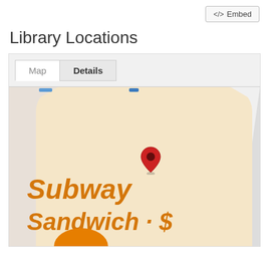</> Embed
Library Locations
[Figure (map): Google Maps view showing a map with tabs 'Map' and 'Details'. A red location pin is placed on the map near a Subway Sandwich location label shown in orange italic text. The map shows a building block in light orange/tan color with a grey road area to the right.]